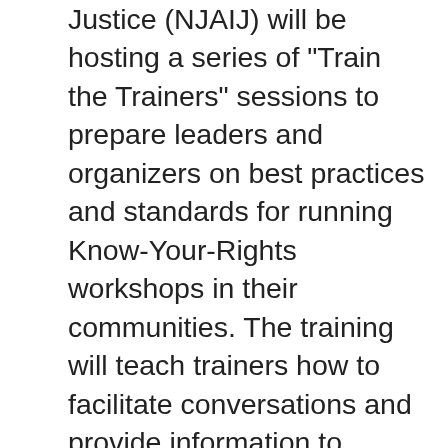Justice (NJAIJ) will be hosting a series of "Train the Trainers" sessions to prepare leaders and organizers on best practices and standards for running Know-Your-Rights workshops in their communities. The training will teach trainers how to facilitate conversations and provide information to community members on their rights when interacting with Immigration and Customs Enforcement (ICE) and local police. Learn how to run a public education workshop on constitutional rights, current state of immigration policy, preparing families, and